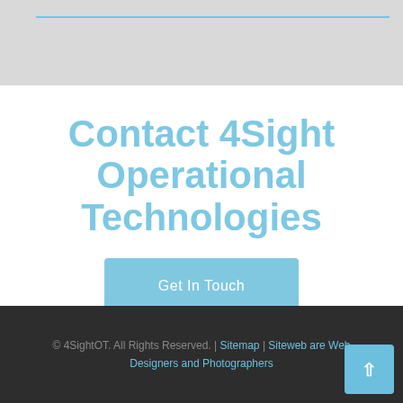Contact 4Sight Operational Technologies
Get In Touch
© 4SightOT. All Rights Reserved. | Sitemap | Siteweb are Web Designers and Photographers